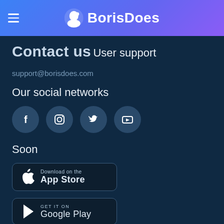BorisDoes
Contact us
User support
support@borisdoes.com
Our social networks
[Figure (illustration): Four social media icon buttons in dark circular backgrounds: Facebook (f), Instagram (camera), Twitter (bird), YouTube (play button)]
Soon
[Figure (illustration): App Store download button with Apple logo]
[Figure (illustration): Google Play download button with play triangle logo]